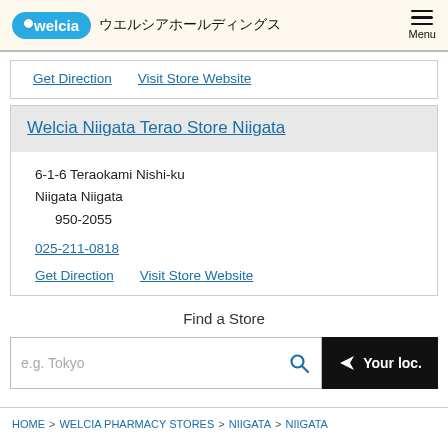welcia ウエルシアホールディングス Menu
Get Direction   Visit Store Website
Welcia Niigata Terao Store Niigata
6-1-6 Teraokami Nishi-ku
Niigata Niigata
    950-2055
025-211-0818
Get Direction   Visit Store Website
Find a Store
e.g. Tokyo
Your loc.
HOME > WELCIA PHARMACY STORES > NIIGATA > NIIGATA